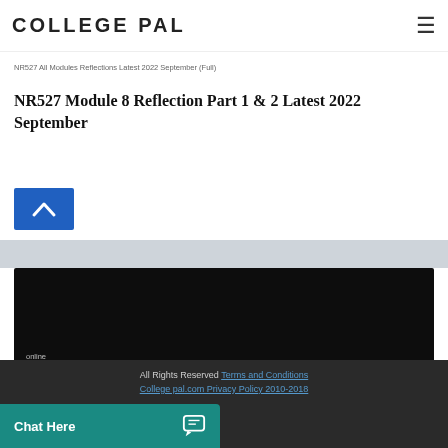COLLEGE PAL
NR527 All Modules Reflections Latest 2022 September (Full)
NR527 Module 8 Reflection Part 1 & 2 Latest 2022 September
[Figure (other): Blue scroll-to-top button with upward chevron arrow]
[Figure (screenshot): Dark/black video or image block with blue hyperlink text reading related NR527 module content]
All Rights Reserved Terms and Conditions College pal.com Privacy Policy 2010-2018
Chat Here